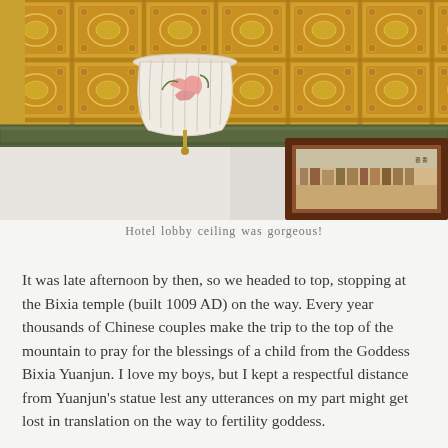[Figure (photo): Interior photo of a hotel lobby ceiling featuring ornate golden coffered tile panels with floral motifs, decorative painted border, a hanging Chinese-style lamp shade with floral painting, and a framed artwork on the wall below showing a traditional Chinese cityscape scene.]
Hotel lobby ceiling was gorgeous!
It was late afternoon by then, so we headed to top, stopping at the Bixia temple (built 1009 AD) on the way. Every year thousands of Chinese couples make the trip to the top of the mountain to pray for the blessings of a child from the Goddess Bixia Yuanjun. I love my boys, but I kept a respectful distance from Yuanjun's statue lest any utterances on my part might get lost in translation on the way to fertility goddess.